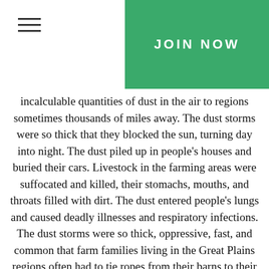JOIN NOW
incalculable quantities of dust in the air to regions sometimes thousands of miles away. The dust storms were so thick that they blocked the sun, turning day into night. The dust piled up in people's houses and buried their cars. Livestock in the farming areas were suffocated and killed, their stomachs, mouths, and throats filled with dirt. The dust entered people's lungs and caused deadly illnesses and respiratory infections. The dust storms were so thick, oppressive, fast, and common that farm families living in the Great Plains regions often had to tie ropes from their barns to their front doors to find their way back home if a dust storm suddenly hit while they were outside. These “black blizzards” sometimes reached as far as New York City, and the dust even found its way to some ships at sea in the Atlantic. By 1933, black blizzards were occurring at a rate of nearly once per week.